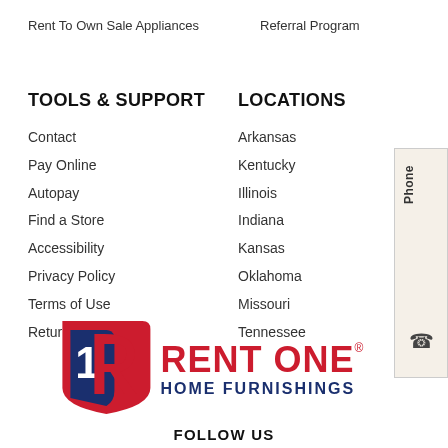Rent To Own Sale Appliances
Referral Program
TOOLS & SUPPORT
LOCATIONS
Contact
Arkansas
Pay Online
Kentucky
Autopay
Illinois
Find a Store
Indiana
Accessibility
Kansas
Privacy Policy
Oklahoma
Terms of Use
Missouri
Return Policy
Tennessee
[Figure (logo): Rent One Home Furnishings logo with stylized R1 emblem in red and navy blue]
FOLLOW US